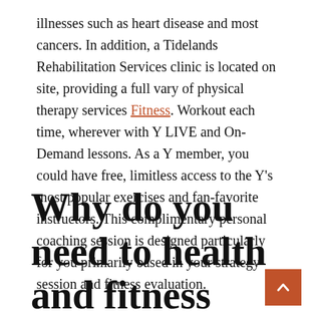illnesses such as heart disease and most cancers. In addition, a Tidelands Rehabilitation Services clinic is located on site, providing a full vary of physical therapy services Fitness. Workout each time, wherever with Y LIVE and On-Demand lessons. As a Y member, you could have free, limitless access to the Y's most popular exercises and fan-favorite instructors. This complimentary personal coaching session is designed particularly for you primarily based in your strategy session and fitness evaluation.
Why do you need to health and fitness education please